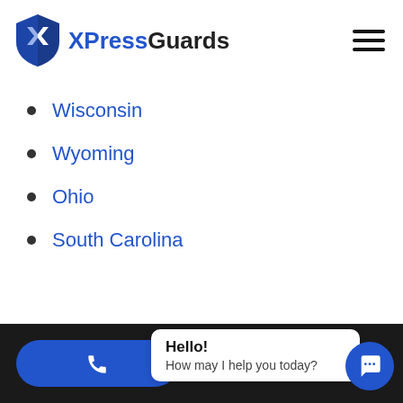[Figure (logo): XPressGuards logo with blue shield and 'XPress' in blue, 'Guards' in black text]
Wisconsin
Wyoming
Ohio
South Carolina
Hello! How may I help you today?